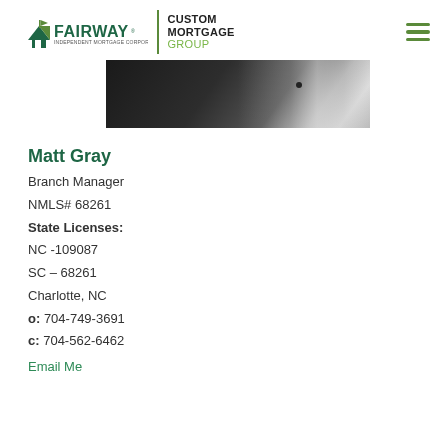[Figure (logo): Fairway Independent Mortgage Corporation logo with house/flag icon and 'Custom Mortgage Group' text beside a green vertical divider. Hamburger menu icon on the right.]
[Figure (photo): Partial photo of a person in a dark suit with white shirt visible, cropped at top of frame.]
Matt Gray
Branch Manager
NMLS# 68261
State Licenses:
NC -109087
SC – 68261
Charlotte, NC
o: 704-749-3691
c: 704-562-6462
Email Me